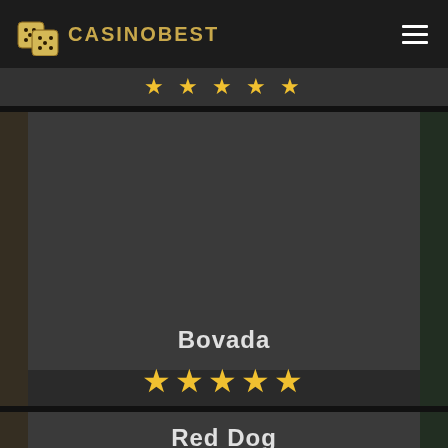CASINOBEST
Bovada
★★★★★
Red Dog